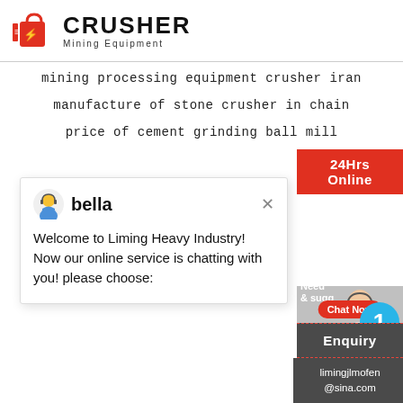[Figure (logo): Crusher Mining Equipment logo with red shopping bag icon and bold text CRUSHER with tagline Mining Equipment]
mining processing equipment crusher iran
manufacture of stone crusher in chain
price of cement grinding ball mill
[Figure (screenshot): 24Hrs Online red badge, chat popup with avatar bella and message: Welcome to Liming Heavy Industry! Now our online service is chatting with you! please choose:, and a side panel with Need & suggestions, Chat Now button, Enquiry section, and limingjlmofen@sina.com contact, with notification bubble showing 1]